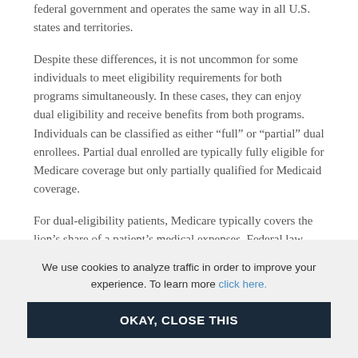federal government and operates the same way in all U.S. states and territories.
Despite these differences, it is not uncommon for some individuals to meet eligibility requirements for both programs simultaneously. In these cases, they can enjoy dual eligibility and receive benefits from both programs. Individuals can be classified as either “full” or “partial” dual enrollees. Partial dual enrolled are typically fully eligible for Medicare coverage but only partially qualified for Medicaid coverage.
For dual-eligibility patients, Medicare typically covers the lion’s share of a patient’s medical expenses. Federal law stipulates that Medicaid always be the payer of last resort. In some cases, Medicaid can cover gaps in services that
We use cookies to analyze traffic in order to improve your experience. To learn more click here.